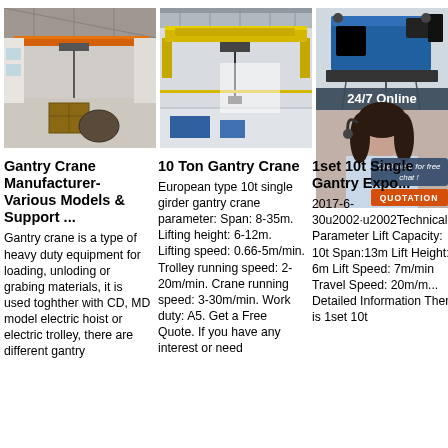[Figure (photo): Interior of an industrial warehouse with an orange overhead crane spanning the ceiling and large wooden crates on the floor.]
[Figure (photo): Interior of a large factory building with a yellow double-girder overhead crane suspended from the ceiling.]
[Figure (photo): Close-up of a blue industrial overhead crane trolley/hoist mechanism against a white background, with a '24/7 Online' label overlay and a customer service representative photo with chat/quotation buttons.]
Gantry Crane Manufacturer- Various Models & Support ...
Gantry crane is a type of heavy duty equipment for loading, unloding or grabing materials, it is used toghther with CD, MD model electric hoist or electric trolley, there are different gantry
10 Ton Gantry Crane
European type 10t single girder gantry crane parameter: Span: 8-35m. Lifting height: 6-12m. Lifting speed: 0.66-5m/min. Trolley running speed: 2-20m/min. Crane running speed: 3-30m/min. Work duty: A5. Get a Free Quote. If you have any interest or need
1set 10t Single Gantry Expo...
2017-6-30u2002·u2002Technical Parameter Lift Capacity: 10t Span:13m Lift Height: 6m Lift Speed: 7m/min Travel Speed: 20m/m... Detailed Information There is 1set 10t